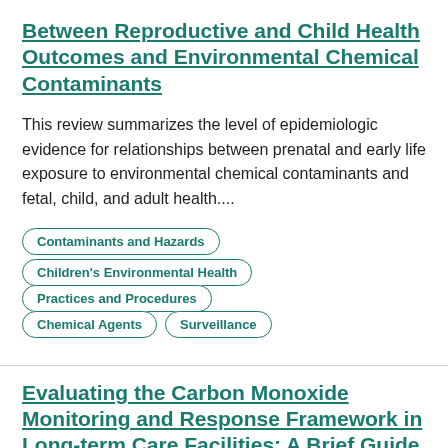Between Reproductive and Child Health Outcomes and Environmental Chemical Contaminants
This review summarizes the level of epidemiologic evidence for relationships between prenatal and early life exposure to environmental chemical contaminants and fetal, child, and adult health....
Contaminants and Hazards
Children's Environmental Health
Practices and Procedures
Chemical Agents
Surveillance
Evaluating the Carbon Monoxide Monitoring and Response Framework in Long-term Care Facilities: A Brief Guide